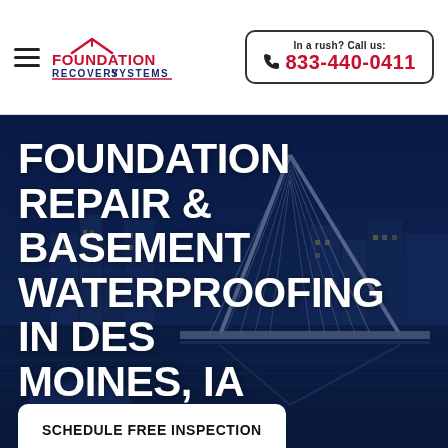Foundation Recovery Systems | In a rush? Call us: 833-440-0411
FOUNDATION REPAIR & BASEMENT WATERPROOFING IN DES MOINES, IA
[Figure (photo): Night cityscape of Des Moines, IA featuring a lit pedestrian arch bridge over a river with urban buildings in the background, blue-tinted twilight atmosphere]
SCHEDULE FREE INSPECTION